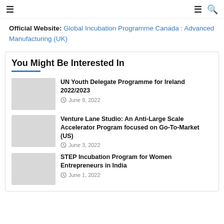☰  ☰ 🔍
Official Website: Global Incubation Programme Canada : Advanced Manufacturing (UK)
You Might Be Interested In
[Figure (photo): Thumbnail placeholder image]
UN Youth Delegate Programme for Ireland 2022/2023
June 9, 2022
[Figure (photo): Thumbnail placeholder image]
Venture Lane Studio: An Anti-Large Scale Accelerator Program focused on Go-To-Market (US)
June 3, 2022
[Figure (photo): Thumbnail placeholder image]
STEP Incubation Program for Women Entrepreneurs in India
June 1, 2022